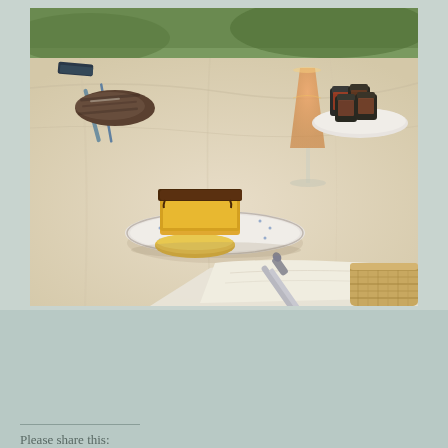[Figure (photo): A breakfast table set outdoors with a white tablecloth. A plate holds a slice of cake with dark chocolate glaze and yellow base, alongside a round flat yellow item. A wine glass filled with orange juice (or spritz) is in the background. Small jam jars are on a plate to the right. Cutlery and other breakfast items are on the left side. In the foreground is a folded white napkin with a silver knife resting on it, next to a wicker basket.]
Published – 18th August, 2018
Updated – 12th September, 2018
Updated – 12th March, 2021
Please share this: